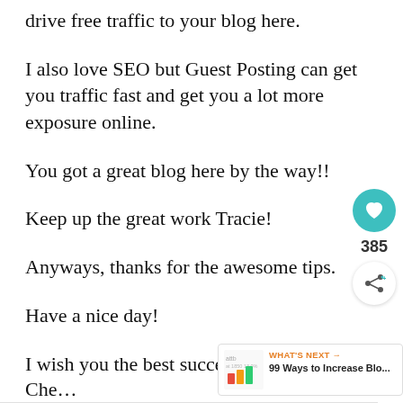drive free traffic to your blog here.
I also love SEO but Guest Posting can get you traffic fast and get you a lot more exposure online.
You got a great blog here by the way!!
Keep up the great work Tracie!
Anyways, thanks for the awesome tips.
Have a nice day!
I wish you the best success online!
Che…